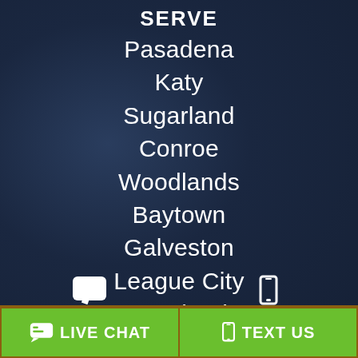SERVE
Pasadena
Katy
Sugarland
Conroe
Woodlands
Baytown
Galveston
League City
Pearland
Cypress
LIVE CHAT
TEXT US